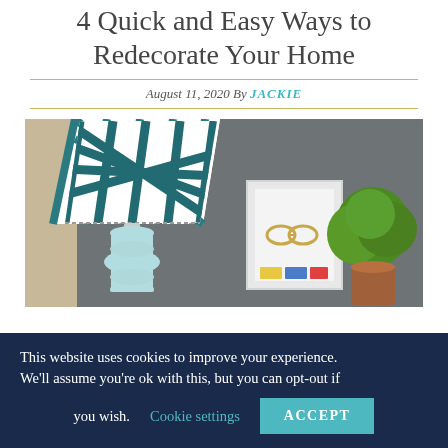4 Quick and Easy Ways to Redecorate Your Home
August 11, 2020 By JACKIE
[Figure (photo): A styled home decor scene featuring a white geometric-patterned lamp shade in teal and white on a light blue lamp base, a white picture frame with eyeglasses art, and a green plant in a terracotta pot, all against a dark grey wall.]
This website uses cookies to improve your experience. We'll assume you're ok with this, but you can opt-out if you wish. Cookie settings ACCEPT